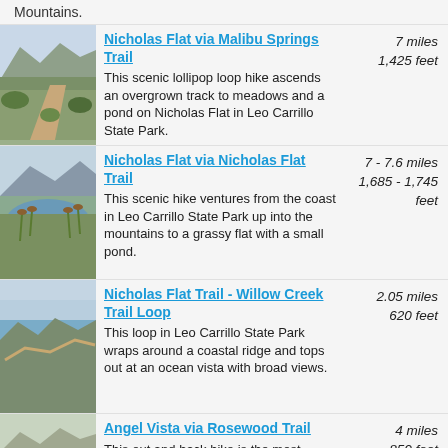Mountains.
Nicholas Flat via Malibu Springs Trail — 7 miles, 1,425 feet. This scenic lollipop loop hike ascends an overgrown track to meadows and a pond on Nicholas Flat in Leo Carrillo State Park.
Nicholas Flat via Nicholas Flat Trail — 7 - 7.6 miles, 1,685 - 1,745 feet. This scenic hike ventures from the coast in Leo Carrillo State Park up into the mountains to a grassy flat with a small pond.
Nicholas Flat Trail - Willow Creek Trail Loop — 2.05 miles, 620 feet. This loop in Leo Carrillo State Park wraps around a coastal ridge and tops out at an ocean vista with broad views.
Angel Vista via Rosewood Trail — 4 miles, 850 feet. This out and back hike is the most